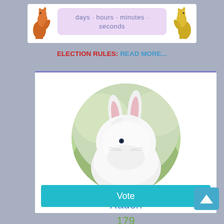days · hours · minutes · seconds
ELECTION RULES: READ MORE...
[Figure (photo): Circular portrait photo of a fluffy white angora rabbit named Raden, sitting outdoors on green grass background]
Raden
179
Vote